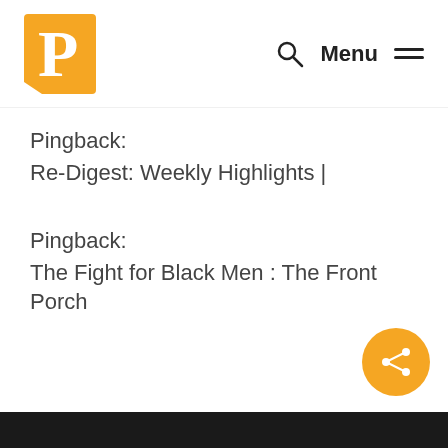[Figure (logo): Front Porch publication logo — orange square with white stylized 'P' letter mark]
Menu ☰
Pingback:
Re-Digest: Weekly Highlights |
Pingback:
The Fight for Black Men : The Front Porch